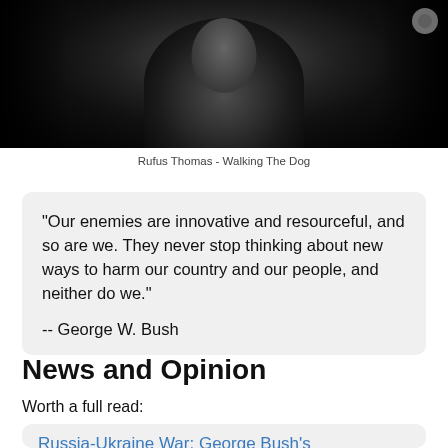[Figure (photo): Black and white photograph of a man, likely a musician or performer, shown from the chest up against a dark background]
Rufus Thomas - Walking The Dog
"Our enemies are innovative and resourceful, and so are we. They never stop thinking about new ways to harm our country and our people, and neither do we."

-- George W. Bush
News and Opinion
Worth a full read:
Russia-Ukraine War: George Bush's